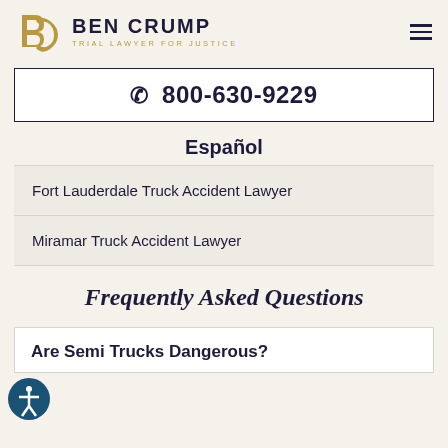[Figure (logo): Ben Crump Trial Lawyer for Justice logo with stylized BC monogram in gold and navy text]
☎ 800-630-9229
Español
Fort Lauderdale Truck Accident Lawyer
Miramar Truck Accident Lawyer
Frequently Asked Questions
Are Semi Trucks Dangerous?